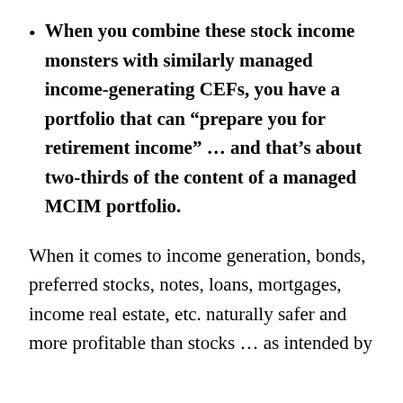When you combine these stock income monsters with similarly managed income-generating CEFs, you have a portfolio that can “prepare you for retirement income” … and that’s about two-thirds of the content of a managed MCIM portfolio.
When it comes to income generation, bonds, preferred stocks, notes, loans, mortgages, income real estate, etc. naturally safer and more profitable than stocks … as intended by